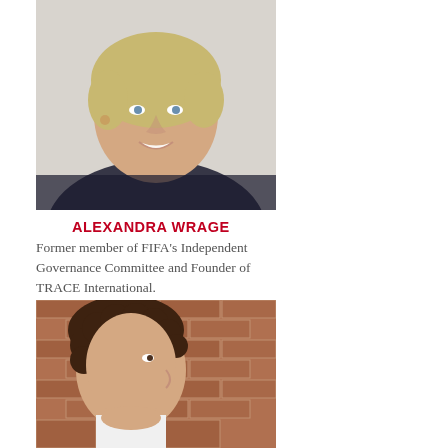[Figure (photo): Headshot photo of Alexandra Wrage, a woman with short blonde hair, smiling, wearing dark clothing against a light background]
ALEXANDRA WRAGE
Former member of FIFA's Independent Governance Committee and Founder of TRACE International.
[Figure (photo): Photo of Alexandre Winter, a man with curly brown hair, shown in profile against a brick wall background]
ALEXANDRE WINTER
CEO and Founder of